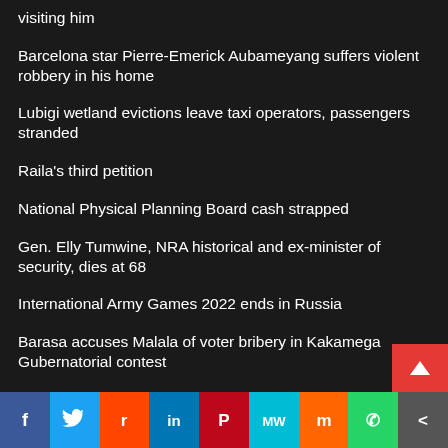visiting him
Barcelona star Pierre-Emerick Aubameyang suffers violent robbery in his home
Lubigi wetland evictions leave taxi operators, passengers stranded
Raila's third petition
National Physical Planning Board cash strapped
Gen. Elly Tumwine, NRA historical and ex-minister of security, dies at 68
International Army Games 2022 ends in Russia
Barasa accuses Malala of voter bribery in Kakamega Gubernatorial contest
Comedian Nasra reveals she is open to sharing husband with Director Rashid
f  Twitter  Reddit  in  Pinterest  MW  Mix  WhatsApp  Share